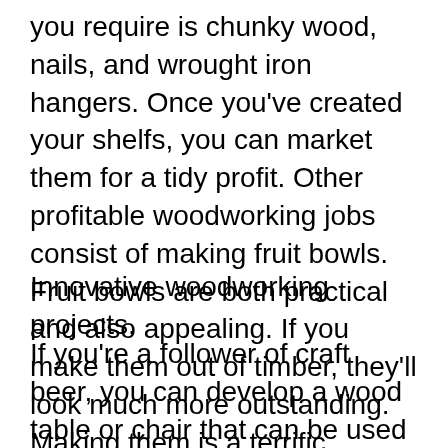you require is chunky wood, nails, and wrought iron hangers. Once you've created your shelfs, you can market them for a tidy profit. Other profitable woodworking jobs consist of making fruit bowls. Fruit bowls are both practical and also appealing. If you make them out of timber, they'll look much more outstanding. Making them is a terrific method to consume your scrap timber, while making a sale at the same time.
Innovative woodworking projects.
If you're a follower of craft beer, you can develop a wood table or chair that can be used as a storage room. This innovative project uses a hacksaw to carve a item of timber into a shape. A person can place